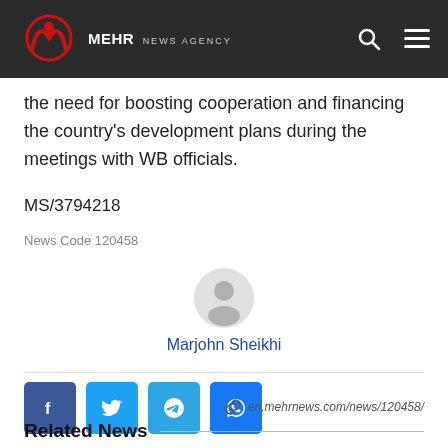MEHR NEWS AGENCY
the need for boosting cooperation and financing the country's development plans during the meetings with WB officials.
MS/3794218
News Code 120458
[Figure (illustration): Author avatar placeholder icon (grey silhouette)]
Marjohn Sheikhi
[Figure (infographic): Social share buttons: Facebook, Twitter, Telegram, WhatsApp]
en.mehrnews.com/news/120458/
Related News